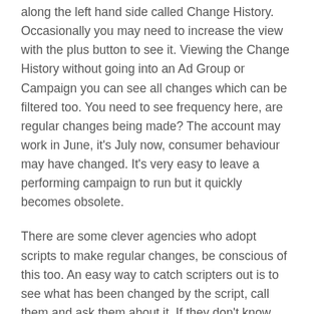along the left hand side called Change History. Occasionally you may need to increase the view with the plus button to see it. Viewing the Change History without going into an Ad Group or Campaign you can see all changes which can be filtered too. You need to see frequency here, are regular changes being made? The account may work in June, it’s July now, consumer behaviour may have changed. It’s very easy to leave a performing campaign to run but it quickly becomes obsolete.
There are some clever agencies who adopt scripts to make regular changes, be conscious of this too. An easy way to catch scripters out is to see what has been changed by the script, call them and ask them about it. If they don’t know then it’s probably a script!